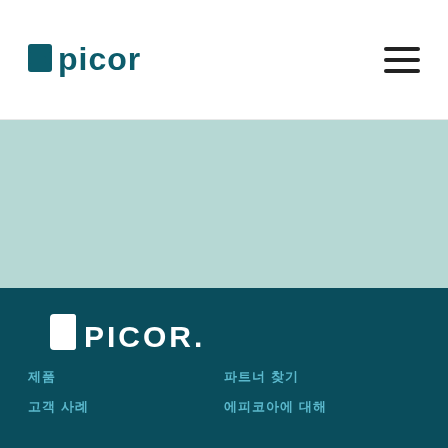[Figure (logo): Epicor logo in dark teal/green color on white header background]
[Figure (illustration): Hamburger menu icon (three horizontal lines) on the right side of header]
[Figure (illustration): Mint/light teal colored banner section below header]
[Figure (logo): Epicor logo in white on dark teal background footer section]
제품
파트너 찾기
고객 사례
에피코아에 대해